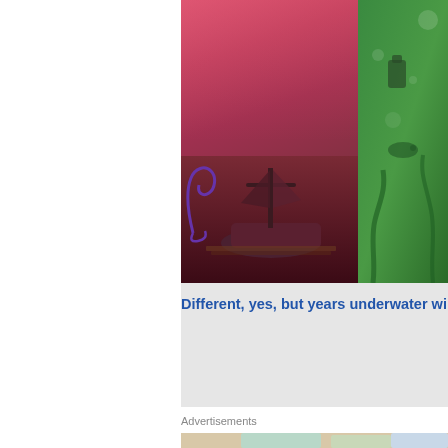[Figure (illustration): Two illustrated scenes side by side: left shows a stylized ship with purple scroll decoration against a dark reddish-pink sunset sky with water below; right shows a green underwater scene with bubbles and a small boat/vessel]
Different, yes, but years underwater will do tha
Advertisements
[Figure (illustration): WordPress VIP advertisement showing overlapping colorful cards with company names (Meta, Facebook, Copernicus, Merck, Hachette) and a circular badge reading 'We're the WordPress CMS for Very Important Content' with WP VIP logo and 'Learn more →' button]